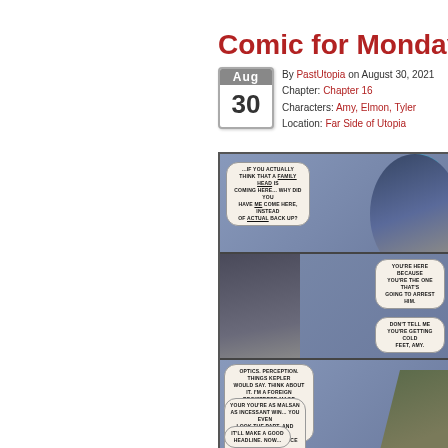Comic for Monday, Au...
By PastUtopia on August 30, 2021
Chapter: Chapter 16
Characters: Amy, Elmon, Tyler
Location: Far Side of Utopia
[Figure (illustration): Three-panel webcomic strip. Panel 1: Blue-haired character with speech bubble: '...IF YOU ACTUALLY THINK THAT A FAMILY HEAD IS COMING HERE... WHY DID YOU HAVE ME COME HERE, INSTEAD OF ACTUAL BACK UP?' Panel 2: Blonde character with two speech bubbles: 'YOU'RE HERE BECAUSE YOU'RE THE ONE THAT'S GOING TO ARREST HIM.' and 'DON'T TELL ME YOU'RE GETTING COLD FEET, AMY.' Panel 3: Two characters with three speech bubbles containing dialogue about optics, perception, and headlines.]